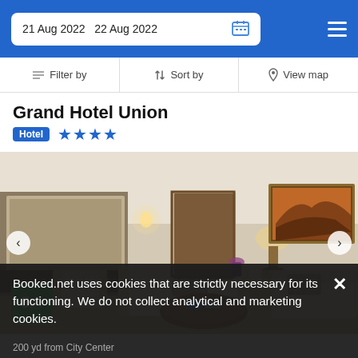21 Aug 2022  22 Aug 2022
Filter by  Sort by  View map
Grand Hotel Union
Hotel ★★★★
[Figure (photo): Hotel room interior with elegant sofas, armchairs, wooden furniture, lamps, large mirror, and artwork on wall. Score badge showing 8.4.]
Booked.net uses cookies that are strictly necessary for its functioning. We do not collect analytical and marketing cookies.
200 yd from City Center